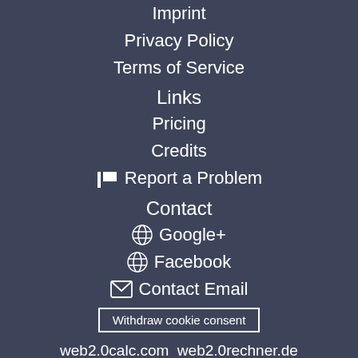Imprint
Privacy Policy
Terms of Service
Links
Pricing
Credits
🚩 Report a Problem
Contact
🌐 Google+
🌐 Facebook
✉ Contact Email
Withdraw cookie consent
web2.0calc.com web2.0rechner.de web2.0calc.es web2.0calc.fr web2.0calc.in web2.0calc.ru